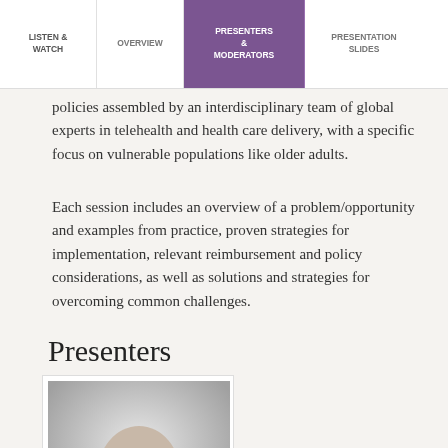LISTEN & WATCH | OVERVIEW | PRESENTERS & MODERATORS | PRESENTATION SLIDES
policies assembled by an interdisciplinary team of global experts in telehealth and health care delivery, with a specific focus on vulnerable populations like older adults.
Each session includes an overview of a problem/opportunity and examples from practice, proven strategies for implementation, relevant reimbursement and policy considerations, as well as solutions and strategies for overcoming common challenges.
Presenters
[Figure (photo): Black and white headshot photo of a male presenter, bald, wearing a suit, smiling]